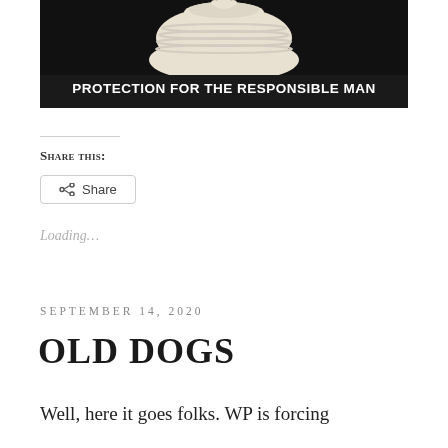[Figure (photo): Dark background image of a white ceramic pot/teapot with the text 'PROTECTION FOR THE RESPONSIBLE MAN' overlaid in bold white capital letters at the bottom.]
Share this:
Share
Loading...
SEPTEMBER 14, 2020
OLD DOGS
Well, here it goes folks. WP is forcing